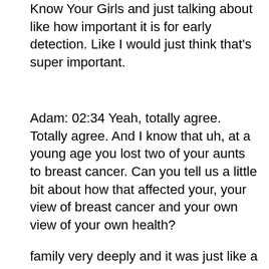Know Your Girls and just talking about like how important it is for early detection. Like I would just think that's super important.
Adam: 02:34 Yeah, totally agree. Totally agree. And I know that uh, at a young age you lost two of your aunts to breast cancer. Can you tell us a little bit about how that affected your, your view of breast cancer and your own view of your own health?
Charmaine: 02:45 Yes. I lost two aunts and then I've
family very deeply and it was just like a super scary
Komen.org uses cookies to ensure you get the best experience on our website.
Learn more
Got it!